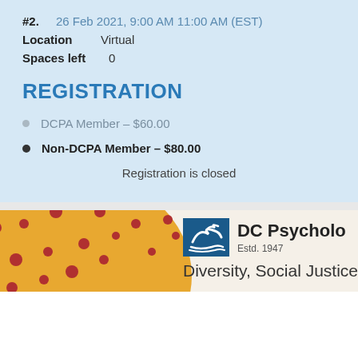#2. 26 Feb 2021, 9:00 AM 11:00 AM (EST)
Location   Virtual
Spaces left   0
REGISTRATION
DCPA Member – $60.00
Non-DCPA Member – $80.00
Registration is closed
[Figure (logo): DC Psychology organization logo with bird/wave icon, Estd. 1947, with decorative orange circle and red dots background, and text 'Diversity, Social Justice']